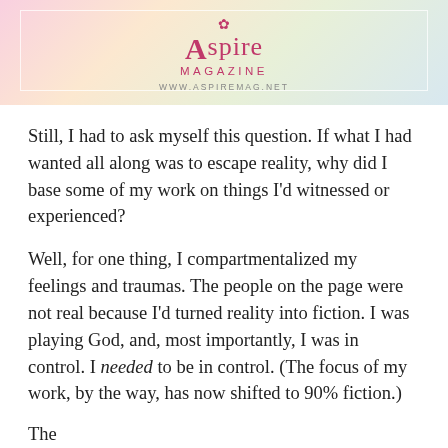[Figure (logo): Aspire Magazine logo on a soft pastel gradient background (pink, peach, green, blue tones) with a white border rectangle. Text reads 'Aspire MAGAZINE' with a small lotus/flower icon above and 'WWW.ASPIREMAG.NET' below.]
Still, I had to ask myself this question. If what I had wanted all along was to escape reality, why did I base some of my work on things I'd witnessed or experienced?
Well, for one thing, I compartmentalized my feelings and traumas. The people on the page were not real because I'd turned reality into fiction. I was playing God, and, most importantly, I was in control. I needed to be in control. (The focus of my work, by the way, has now shifted to 90% fiction.)
The page begins to cut off at the bottom...